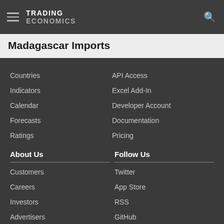TRADING ECONOMICS
Madagascar Imports
Countries
Indicators
Calendar
Forecasts
Ratings
API Access
Excel Add-In
Developer Account
Documentation
Pricing
About Us
Customers
Careers
Investors
Advertisers
About us
Follow Us
Twitter
App Store
RSS
GitHub
Privacy
Copyright ©2022 TRADING ECONOMICS
All Rights Reserved